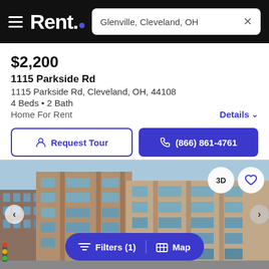Rent. — Glenville, Cleveland, OH
$2,200
1115 Parkside Rd
1115 Parkside Rd, Cleveland, OH, 44108
4 Beds • 2 Bath
Home For Rent
Details
Request Tour
(866) 861-4761
[Figure (photo): Exterior photo of a modern multi-story apartment building with tan/beige facade and grid windows, blue sky background.]
3D
Filters (1)  |  Map